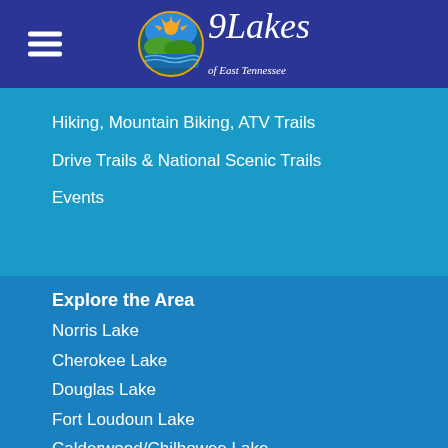[Figure (logo): 9 Lakes of East Tennessee logo with circular icon showing sun, hills, and water, with stylized script text]
Hiking, Mountain Biking, ATV Trails
Drive Trails & National Scenic Trails
Events
Explore the Area
Norris Lake
Cherokee Lake
Douglas Lake
Fort Loudoun Lake
Calderwood/Chilhowee Lake
Melton Hill Lake
Tellico Lake